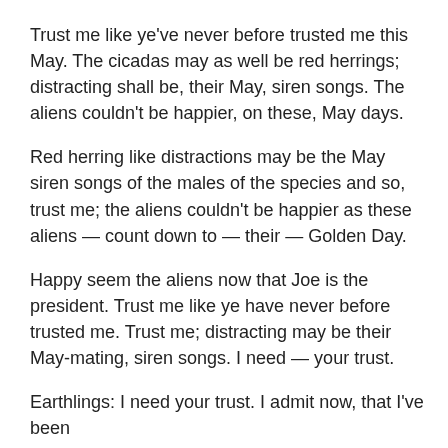Trust me like ye've never before trusted me this May. The cicadas may as well be red herrings; distracting shall be, their May, siren songs. The aliens couldn't be happier, on these, May days.
Red herring like distractions may be the May siren songs of the males of the species and so, trust me; the aliens couldn't be happier as these aliens — count down to — their — Golden Day.
Happy seem the aliens now that Joe is the president. Trust me like ye have never before trusted me. Trust me; distracting may be their May-mating, siren songs. I need — your trust.
Earthlings: I need your trust. I admit now, that I've been